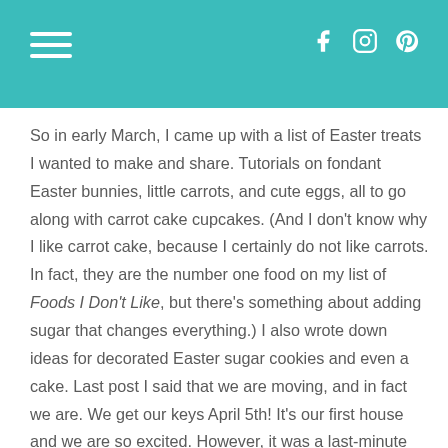Navigation header with hamburger menu and social icons (Facebook, Instagram, Pinterest)
So in early March, I came up with a list of Easter treats I wanted to make and share.  Tutorials on fondant Easter bunnies, little carrots, and cute eggs, all to go along with carrot cake cupcakes.  (And I don't know why I like carrot cake, because I certainly do not like carrots.  In fact, they are the number one food on my list of Foods I Don't Like, but there's something about adding sugar that changes everything.)  I also wrote down ideas for decorated Easter sugar cookies and even a cake.  Last post I said that we are moving, and in fact we are.  We get our keys April 5th!  It's our first house and we are so excited.  However, it was a last-minute decision to list our condo before we move, instead of after.  As a result,